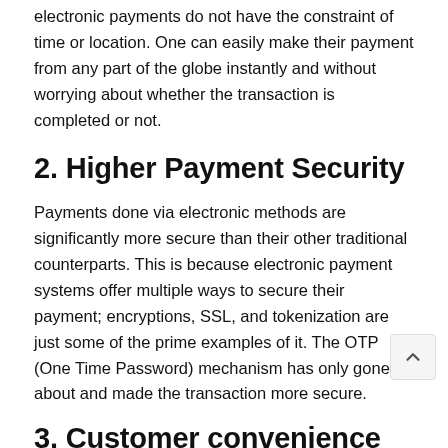electronic payments do not have the constraint of time or location. One can easily make their payment from any part of the globe instantly and without worrying about whether the transaction is completed or not.
2. Higher Payment Security
Payments done via electronic methods are significantly more secure than their other traditional counterparts. This is because electronic payment systems offer multiple ways to secure their payment; encryptions, SSL, and tokenization are just some of the prime examples of it. The OTP (One Time Password) mechanism has only gone about and made the transaction more secure.
3. Customer convenience
It really has to do more so with the...